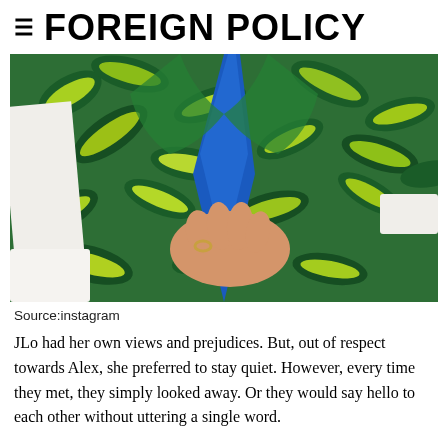≡ FOREIGN POLICY
[Figure (photo): Person wearing a green tropical leaf-print blazer with a bright blue tie and white shirt cuffs, hand on hip, photographed from neck to waist.]
Source:instagram
JLo had her own views and prejudices. But, out of respect towards Alex, she preferred to stay quiet. However, every time they met, they simply looked away. Or they would say hello to each other without uttering a single word.